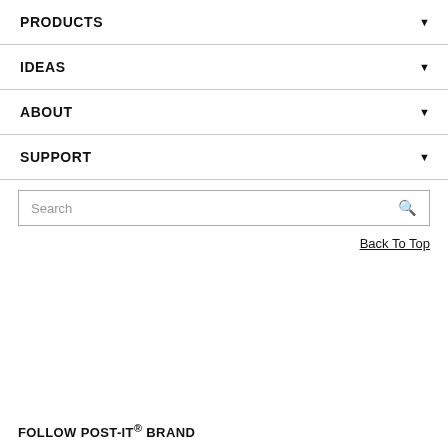PRODUCTS ▼
IDEAS ▼
ABOUT ▼
SUPPORT ▼
Search
Back To Top
FOLLOW POST-IT® BRAND